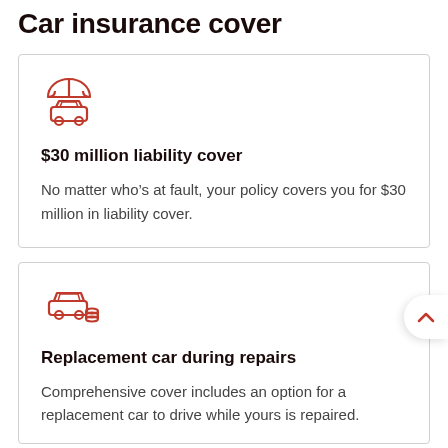Car insurance cover
[Figure (illustration): Red outline icon of a car under an umbrella, representing insurance coverage]
$30 million liability cover
No matter who’s at fault, your policy covers you for $30 million in liability cover.
[Figure (illustration): Red outline icon of a car with coins/money, representing replacement car during repairs]
Replacement car during repairs
Comprehensive cover includes an option for a replacement car to drive while yours is repaired.